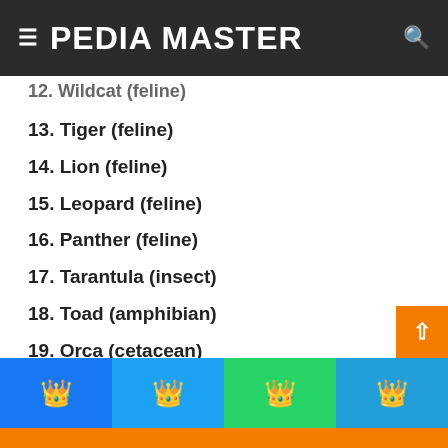PEDIA MASTER
12. Wildcat (feline)
13. Tiger (feline)
14. Lion (feline)
15. Leopard (feline)
16. Panther (feline)
17. Tarantula (insect)
18. Toad (amphibian)
19. Orca (cetacean)
20. Dolphin (cetacean)
Facebook Twitter WhatsApp Telegram